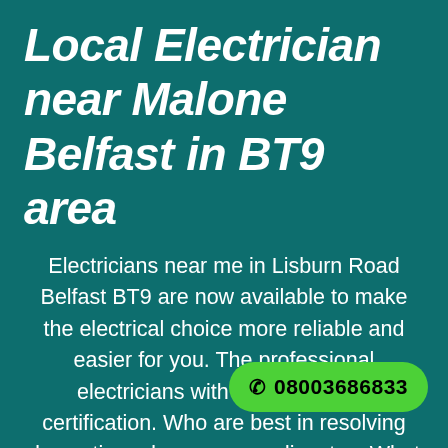Local Electrician near Malone Belfast in BT9 area
Electricians near me in Lisburn Road Belfast BT9 are now available to make the electrical choice more reliable and easier for you. The professional electricians with city and guilds certification. Who are best in resolving domestic and commercial disputes. What are you
[Figure (other): Green rounded call-to-action button with phone icon and number 08003686833]